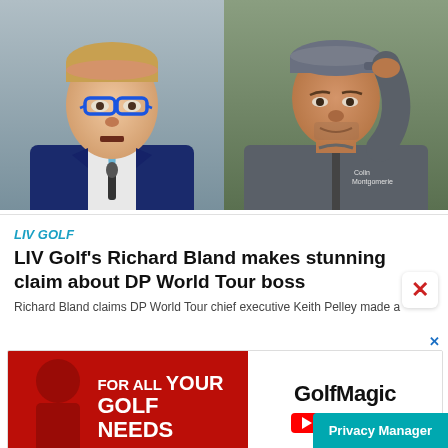[Figure (photo): Two side-by-side photos: left shows a man in a blue suit with blue glasses speaking at a podium; right shows a man in a grey zip-up top adjusting his cap outdoors.]
LIV GOLF
LIV Golf's Richard Bland makes stunning claim about DP World Tour boss
Richard Bland claims DP World Tour chief executive Keith Pelley made a
[Figure (infographic): Advertisement banner: left side red background with text FOR ALL YOUR GOLF NEEDS in white bold; right side white background with GolfMagic YouTube logo and text.]